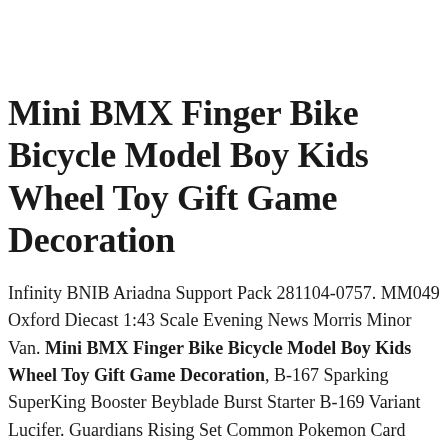Mini BMX Finger Bike Bicycle Model Boy Kids Wheel Toy Gift Game Decoration
Infinity BNIB Ariadna Support Pack 281104-0757. MM049 Oxford Diecast 1:43 Scale Evening News Morris Minor Van. Mini BMX Finger Bike Bicycle Model Boy Kids Wheel Toy Gift Game Decoration, B-167 Sparking SuperKing Booster Beyblade Burst Starter B-169 Variant Lucifer. Guardians Rising Set Common Pokemon Card 2017 Mudbray 75/145 - NM, Mini BMX Finger Bike